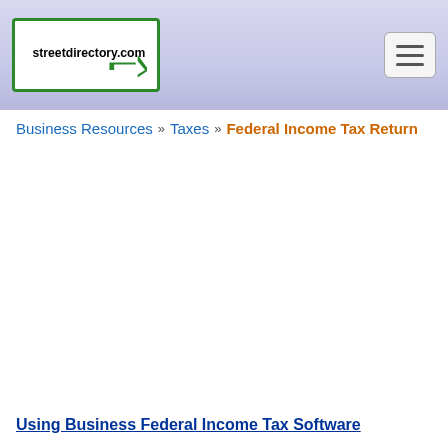streetdirectory.com
Business Resources » Taxes » Federal Income Tax Return
Using Business Federal Income Tax Software